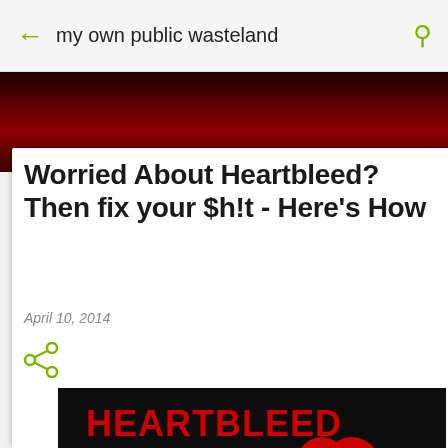my own public wasteland
[Figure (photo): Dark red blurred banner/hero image at the top of the blog post]
Worried About Heartbleed? Then fix your $h!t - Here's How
April 10, 2014
[Figure (illustration): Heartbleed logo image: black background with the word HEARTBLEED in red at the top, hex dump text on the left side, and a red heart with white cutout dripping blood on the right side]